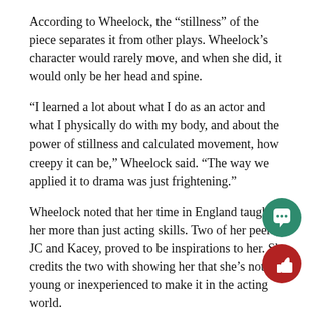According to Wheelock, the “stillness” of the piece separates it from other plays. Wheelock’s character would rarely move, and when she did, it would only be her head and spine.
“I learned a lot about what I do as an actor and what I physically do with my body, and about the power of stillness and calculated movement, how creepy it can be,” Wheelock said. “The way we applied it to drama was just frightening.”
Wheelock noted that her time in England taught her more than just acting skills. Two of her peers, JC and Kacey, proved to be inspirations to her. She credits the two with showing her that she’s not too young or inexperienced to make it in the acting world.
“Before I was kind of like, ‘you know I’m really young, it’s going to be really hard to make it,’” Wheelock said. what I realized from JC is that if I’m going to get